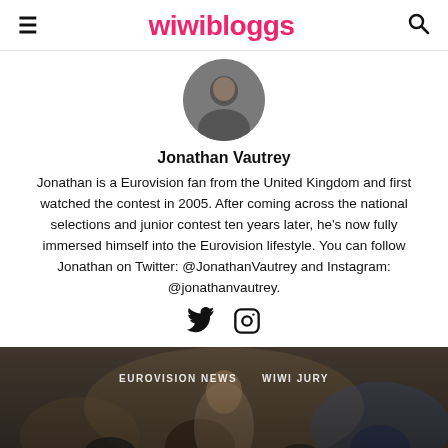wiwibloggs
[Figure (photo): Circular avatar/profile photo of Jonathan Vautrey]
Jonathan Vautrey
Jonathan is a Eurovision fan from the United Kingdom and first watched the contest in 2005. After coming across the national selections and junior contest ten years later, he's now fully immersed himself into the Eurovision lifestyle. You can follow Jonathan on Twitter: @JonathanVautrey and Instagram: @jonathanvautrey.
[Figure (other): Twitter and Instagram social icons]
[Figure (photo): Article card image with overlay text: EUROVISION NEWS | WIWI JURY and title 'Wiwi Jury: Eurovision movie – "Jaja Ding']
EUROVISION NEWS   WIWI JURY
Wiwi Jury: Eurovision movie – “Jaja Ding